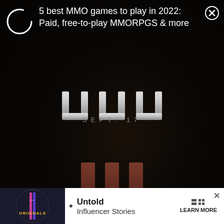[Figure (screenshot): Dark game promotional image with UUU logo text and III stylized text, 'SEPT. 17' date, 'LIVE ON' text and partial PA logo in yellow]
5 best MMO games to play in 2022: Paid, free-to-play MMORPGS & more
[Figure (logo): Circular spinner/loading icon (white circle outline, partially complete)]
[Figure (logo): UUU stylized logo in metallic grey/white letters]
SEPT. 17
[Figure (logo): III stylized roman numeral in dark reddish-brown]
LIVE ON
[Figure (logo): PA logo in yellow box (partial)]
[Figure (logo): ORIGINALS logo circular badge]
Untold Influencer Stories
LEARN MORE